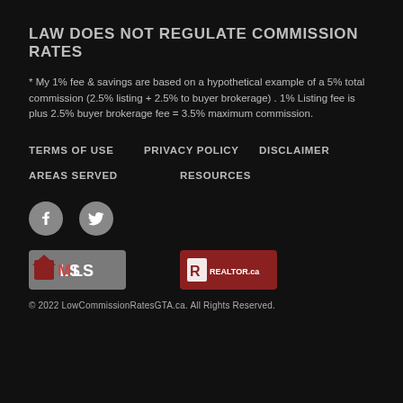LAW DOES NOT REGULATE COMMISSION RATES
* My 1% fee & savings are based on a hypothetical example of a 5% total commission (2.5% listing + 2.5% to buyer brokerage) . 1% Listing fee is plus 2.5% buyer brokerage fee = 3.5% maximum commission.
TERMS OF USE
PRIVACY POLICY
DISCLAIMER
AREAS SERVED
RESOURCES
[Figure (logo): Facebook social media icon in a grey circle]
[Figure (logo): Twitter social media icon in a grey circle]
[Figure (logo): MLS logo on grey background]
[Figure (logo): REALTOR.ca logo on dark red background]
© 2022 LowCommissionRatesGTA.ca. All Rights Reserved.